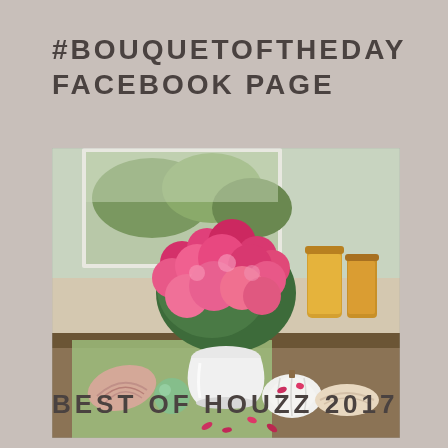#BOUQUETOFTHEDAY FACEBOOK PAGE
[Figure (photo): A large bouquet of pink roses and flowers in a white vase on a table decorated with seashells, small white pumpkins, and scattered rose petals. In the background are glass jars with golden liquid and a window with green outdoor views.]
BEST OF HOUZZ 2017